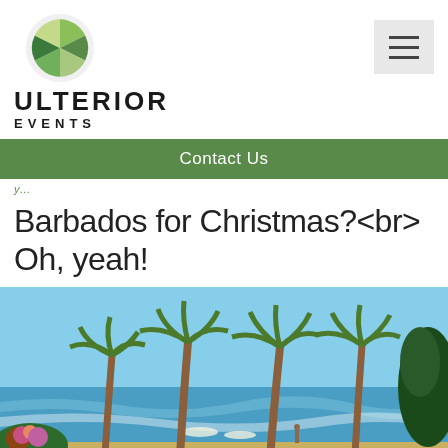[Figure (logo): Ulterior Events circular logo with green leaf/geometric pattern]
ULTERIOR EVENTS
Contact Us
Barbados for Christmas?<br> Oh, yeah!
[Figure (photo): Tropical beach scene with tall palm trees, blue sky, ocean waves, and beach umbrellas]